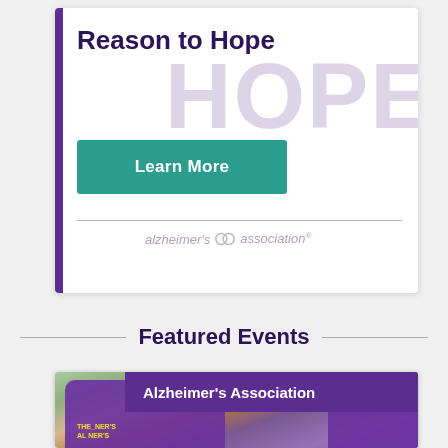Reason to Hope
[Figure (illustration): Watermark text 'HOPE' in large light purple letters behind the card content]
[Figure (other): Learn More button in teal/green color]
[Figure (logo): Alzheimer's Association logo with brain icon and italic text]
Featured Events
[Figure (photo): Photo of people in purple Alzheimer's Association t-shirts with arms raised, celebrating at a walk event. A purple banner overlay reads 'Alzheimer's Association'. Text on shirt reads 'THE_NER'S' (partial, Alzheimer's Association branding).]